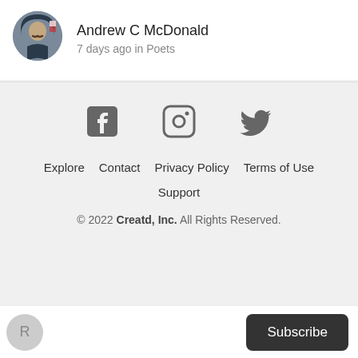Andrew C McDonald
7 days ago in Poets
Explore   Contact   Privacy Policy   Terms of Use   Support
© 2022 Creatd, Inc. All Rights Reserved.
R
Subscribe